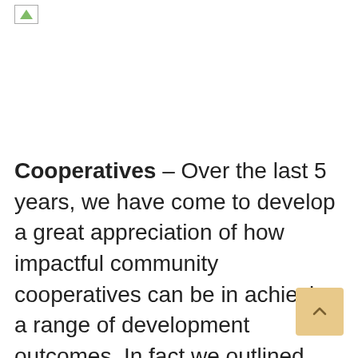[Figure (logo): Small logo image in top-left corner, partially visible green icon]
Cooperatives – Over the last 5 years, we have come to develop a great appreciation of how impactful community cooperatives can be in achieving a range of development outcomes. In fact we outlined our appreciation of them in a blog post. These member owned